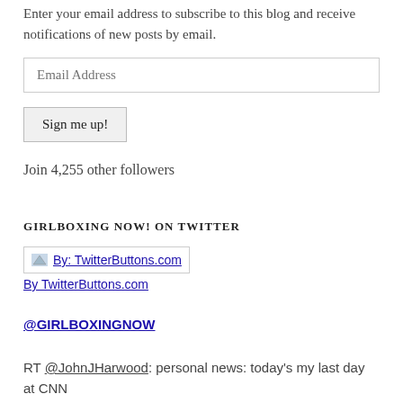Enter your email address to subscribe to this blog and receive notifications of new posts by email.
Email Address
Sign me up!
Join 4,255 other followers
GIRLBOXING NOW! ON TWITTER
[Figure (other): Twitter button image link from TwitterButtons.com]
By TwitterButtons.com
@GIRLBOXINGNOW
RT @JohnJHarwood: personal news: today's my last day at CNN